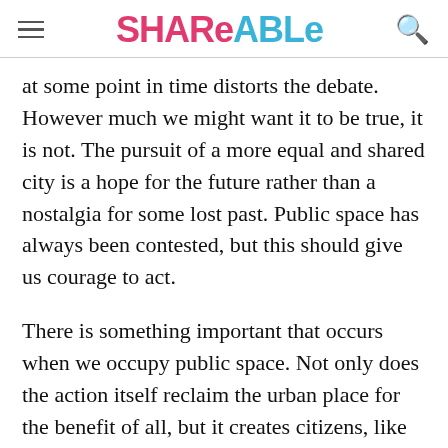Shareable
at some point in time distorts the debate. However much we might want it to be true, it is not. The pursuit of a more equal and shared city is a hope for the future rather than a nostalgia for some lost past. Public space has always been contested, but this should give us courage to act.
There is something important that occurs when we occupy public space. Not only does the action itself reclaim the urban place for the benefit of all, but it creates citizens, like